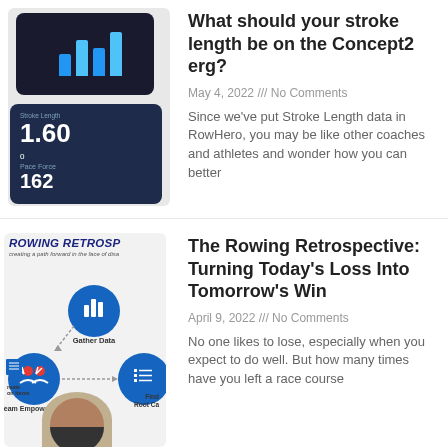[Figure (screenshot): Mobile device screens showing rowing analytics app with bar charts and metrics (1.60 stroke length, 162)]
What should your stroke length be on the Concept2 erg?
May 4, 2022 /// No Comments
Since we've put Stroke Length data in RowHero, you may be like other coaches and athletes and wonder how you can better
[Figure (infographic): Rowing Retrospective infographic showing a cycle: Gather Data, Team Empowerment, Find Root Cause, Create Action Items]
The Rowing Retrospective: Turning Today's Loss Into Tomorrow's Win
April 9, 2022 /// No Comments
No one likes to lose, especially when you expect to do well. But how many times have you left a race course